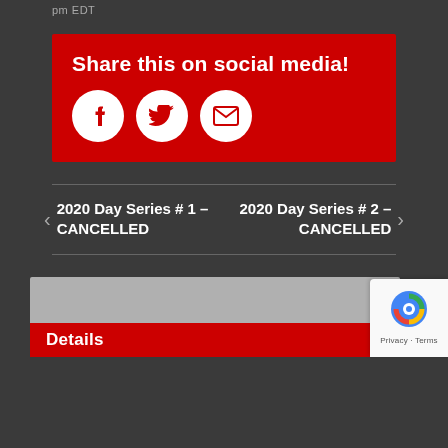pm EDT
[Figure (infographic): Red box with 'Share this on social media!' heading and three white circular icons for Facebook, Twitter, and email sharing]
2020 Day Series # 1 – CANCELLED
2020 Day Series # 2 – CANCELLED
Details